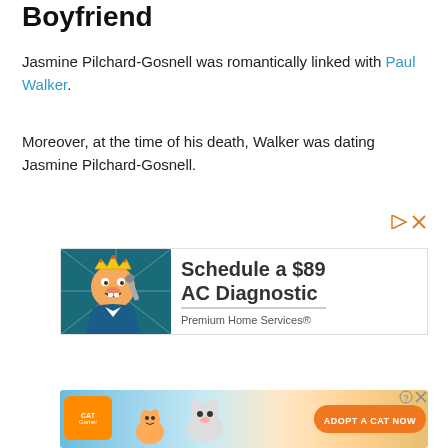Boyfriend
Jasmine Pilchard-Gosnell was romantically linked with Paul Walker.
Moreover, at the time of his death, Walker was dating Jasmine Pilchard-Gosnell.
[Figure (other): Advertisement controls: play and close icons]
[Figure (other): Advertisement: cartoon mascot with crown and wrench. Text: Schedule a $89 AC Diagnostic. Premium Home Services®]
[Figure (other): Advertisement: Cat Game banner with adopt a cat now text and cartoon cats]